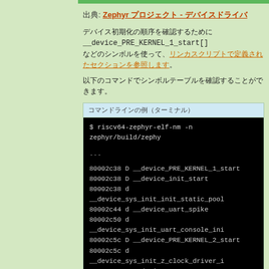出典: Zephyr プロジェクト - デバイスドライバ
デバイス初期化の順序を確認するために __device_PRE_KERNEL_1_start[] などのシンボルを使って、リンカスクリプトで定義されたセクションを参照します。
以下のコマンドでシンボルテーブルを確認することができます。
[Figure (screenshot): Terminal output showing riscv64-zephyr-elf-nm command and device initialization symbol table with addresses like 80002c38 and 80002c68]